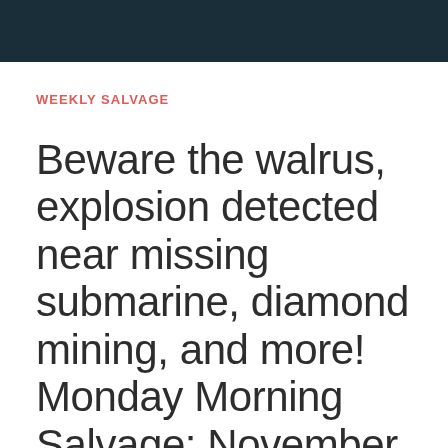[Figure (photo): Dark teal/navy header banner image at top of page]
WEEKLY SALVAGE
Beware the walrus, explosion detected near missing submarine, diamond mining, and more! Monday Morning Salvage: November 27, 2017